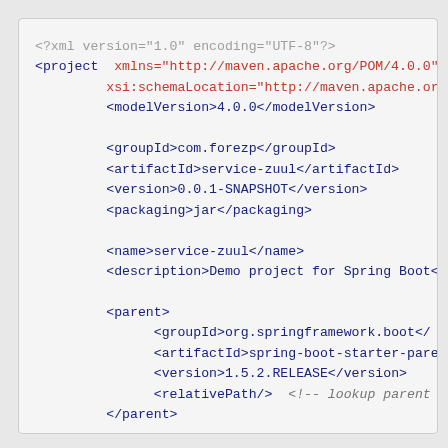XML/Maven POM file code snippet showing project configuration for service-zuul Spring Boot application